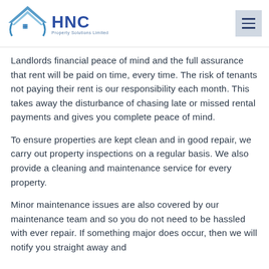HNC Property Solutions Limited
Landlords financial peace of mind and the full assurance that rent will be paid on time, every time. The risk of tenants not paying their rent is our responsibility each month. This takes away the disturbance of chasing late or missed rental payments and gives you complete peace of mind.
To ensure properties are kept clean and in good repair, we carry out property inspections on a regular basis. We also provide a cleaning and maintenance service for every property.
Minor maintenance issues are also covered by our maintenance team and so you do not need to be hassled with ever repair. If something major does occur, then we will notify you straight away and